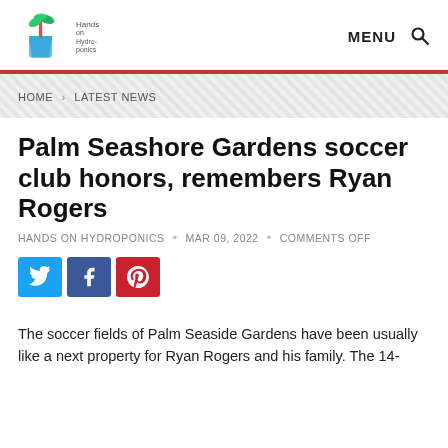Hands on Hydroponics — MENU [search]
HOME > LATEST NEWS
Palm Seashore Gardens soccer club honors, remembers Ryan Rogers
HANDS ON HYDROPONICS • MAR 09, 2022 • COMMENTS OFF
[Figure (other): Social share buttons: Twitter (blue), Facebook (dark blue), Pinterest (red)]
The soccer fields of Palm Seaside Gardens have been usually like a next property for Ryan Rogers and his family. The 14-